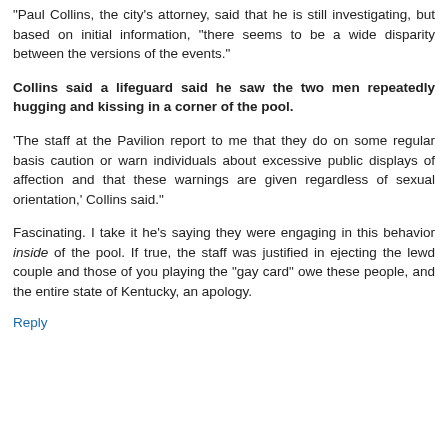transpired.'"
Not surprising. What was left out? Let's see...
"Paul Collins, the city's attorney, said that he is still investigating, but based on initial information, "there seems to be a wide disparity between the versions of the events."
Collins said a lifeguard said he saw the two men repeatedly hugging and kissing in a corner of the pool.
'The staff at the Pavilion report to me that they do on some regular basis caution or warn individuals about excessive public displays of affection and that these warnings are given regardless of sexual orientation,' Collins said."
Fascinating. I take it he's saying they were engaging in this behavior inside of the pool. If true, the staff was justified in ejecting the lewd couple and those of you playing the "gay card" owe these people, and the entire state of Kentucky, an apology.
Reply